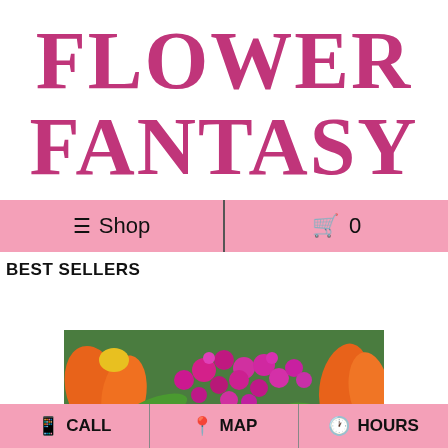FLOWER FANTASY
≡ Shop    🛒 0
BEST SELLERS
[Figure (photo): Close-up photo of colorful flowers including pink/magenta small blooms, orange tulips, and green leaves]
📱 CALL    📍 MAP    🕐 HOURS